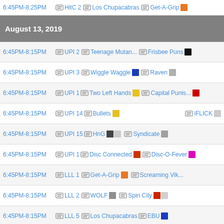6:45PM-8:25PM  HitC 2  Los Chupacabras  Get-A-Grip
August 13, 2019
6:45PM-8:15PM  UPI 2  Teenage Mutan...  Frisbee Puns
6:45PM-8:15PM  UPI 3  Wiggle Waggle  Raven
6:45PM-8:15PM  UPI 1  Two Left Hands  Capital Punis...
6:45PM-8:15PM  UPI 14  Bullets  iFLICK
6:45PM-8:15PM  UPI 15  HnG  Syndicate
6:45PM-8:15PM  UPI 1  Disc Connected  Disc-O-Fever
6:45PM-8:15PM  LLL 1  Get-A-Grip  Screaming Vik...
6:45PM-8:15PM  LLL 2  WOLF  Spin City
6:45PM-8:15PM  LLL 5  Los Chupacabras  EBU
6:45PM-8:15PM  POT 2  NetFLICKS and...  Dubious Disc ...
6:45PM-8:15PM  BFP 3  Deep Country ...  Montego Bay L...
6:45PM-8:15PM  BFP 1  Mardi Grass  Huck it Trebek
6:45PM-8:15PM  BFP 2  Game of Throws  Nck the Nigh...
6:45PM-8:15PM  LLL 6  Dr Teeth  Screaming Yel...